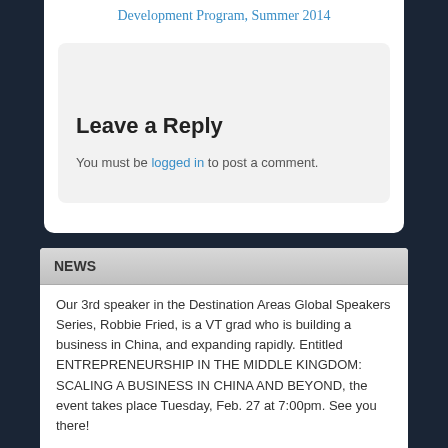Development Program, Summer 2014
Leave a Reply
You must be logged in to post a comment.
NEWS
Our 3rd speaker in the Destination Areas Global Speakers Series, Robbie Fried, is a VT grad who is building a business in China, and expanding rapidly. Entitled ENTREPRENEURSHIP IN THE MIDDLE KINGDOM: SCALING A BUSINESS IN CHINA AND BEYOND, the event takes place Tuesday, Feb. 27 at 7:00pm. See you there!